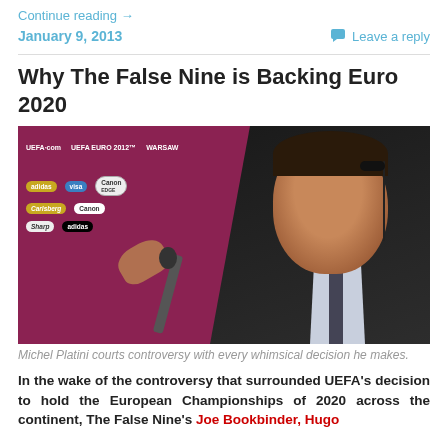Continue reading →
January 9, 2013   Leave a reply
Why The False Nine is Backing Euro 2020
[Figure (photo): Michel Platini at a UEFA Euro 2012 press conference, wearing a headset and speaking in front of sponsor logos including UEFA.com, Canon, Carlsberg, Sharp, and McDonald's on a purple backdrop.]
Michel Platini courts controversy with every whimsical decision he makes.
In the wake of the controversy that surrounded UEFA's decision to hold the European Championships of 2020 across the continent, The False Nine's Joe Bookbinder, Hugo